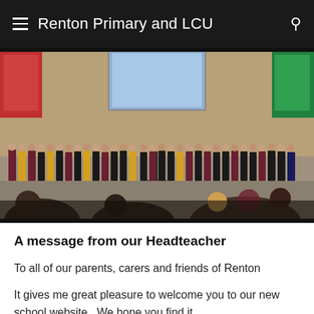Renton Primary and LCU
[Figure (photo): Children standing in a row in a school hall holding drawings, in front of a projector screen and wooden wall panels decorated with colourful display boards. A microphone stand is in the centre. Other children are seated in the foreground.]
A message from our Headteacher
To all of our parents, carers and friends of Renton
It gives me great pleasure to welcome you to our new school website.  We hope you find it